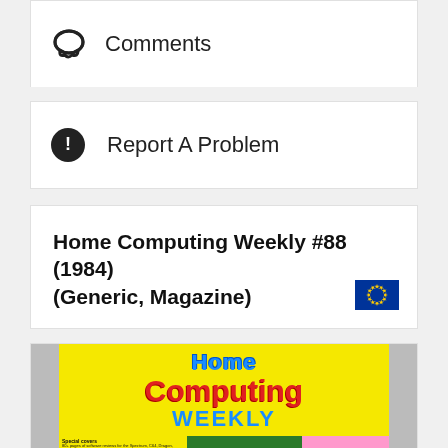Comments
Report A Problem
Home Computing Weekly #88 (1984) (Generic, Magazine)
[Figure (photo): Magazine cover of Home Computing Weekly issue #88, 1984, with yellow background, red and blue large text reading 'Home Computing Weekly', green grid section in center with text 'CATASTROPHES', and pink section on right reading 'SCHOOL PRICES']